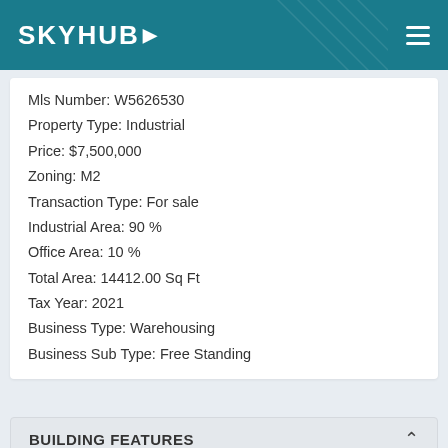SKYHUB
Mls Number: W5626530
Property Type: Industrial
Price: $7,500,000
Zoning: M2
Transaction Type: For sale
Industrial Area: 90 %
Office Area: 10 %
Total Area: 14412.00 Sq Ft
Tax Year: 2021
Business Type: Warehousing
Business Sub Type: Free Standing
BUILDING FEATURES
Industrial Area: 90 %